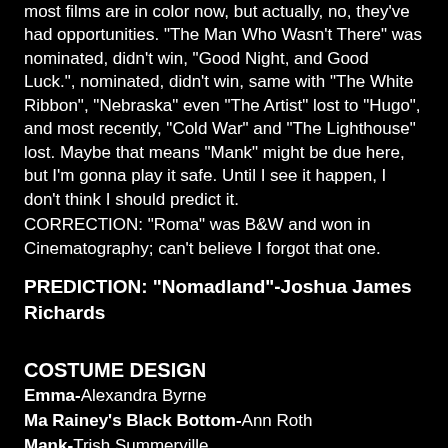most films are in color now, but actually, no, they've had opportunities. "The Man Who Wasn't There" was nominated, didn't win, "Good Night, and Good Luck.", nominated, didn't win, same with "The White Ribbon", "Nebraska" even "The Artist" lost to "Hugo", and most recently, "Cold War" and "The Lighthouse" lost. Maybe that means "Mank" might be due here, but I'm gonna play it safe. Until I see it happen, I don't think I should predict it.
CORRECTION: "Roma" was B&W and won in Cinematography; can't believe I forgot that one.
PREDICTION: "Nomadland"-Joshua James Richards
COSTUME DESIGN
Emma-Alexandra Byrne
Ma Rainey's Black Bottom-Ann Roth
Mank-Trish Summerville
Mulan-Bina Daigeler
Pinocchio-Massimo Cantini Parrini
Another category that feels like a trap to just go with the Guild...